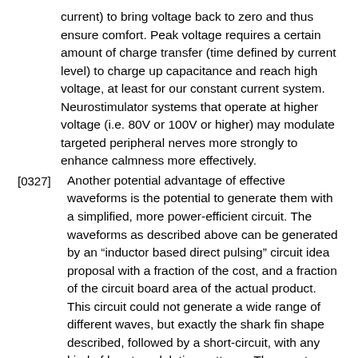current) to bring voltage back to zero and thus ensure comfort. Peak voltage requires a certain amount of charge transfer (time defined by current level) to charge up capacitance and reach high voltage, at least for our constant current system. Neurostimulator systems that operate at higher voltage (i.e. 80V or 100V or higher) may modulate targeted peripheral nerves more strongly to enhance calmness more effectively.
[0327] Another potential advantage of effective waveforms is the potential to generate them with a simplified, more power-efficient circuit. The waveforms as described above can be generated by an “inductor based direct pulsing” circuit idea proposal with a fraction of the cost, and a fraction of the circuit board area of the actual product. This circuit could not generate a wide range of different waves, but exactly the shark fin shape described, followed by a short-circuit, with any kind of burst modulation patterns. The exact shape of the waveform would depend on the user impedance. The peak voltage can be controlled by